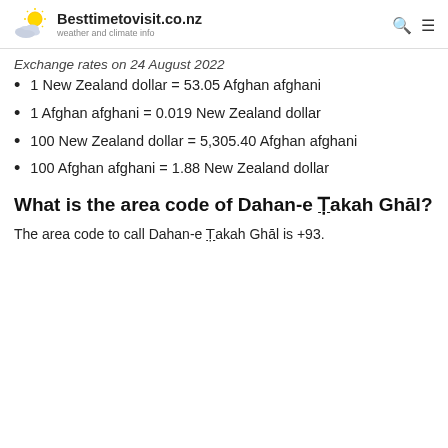Besttimetovisit.co.nz — weather and climate info
Exchange rates on 24 August 2022
1 New Zealand dollar = 53.05 Afghan afghani
1 Afghan afghani = 0.019 New Zealand dollar
100 New Zealand dollar = 5,305.40 Afghan afghani
100 Afghan afghani = 1.88 New Zealand dollar
What is the area code of Dahan-e Ṭakah Ghāl?
The area code to call Dahan-e Ṭakah Ghāl is +93.